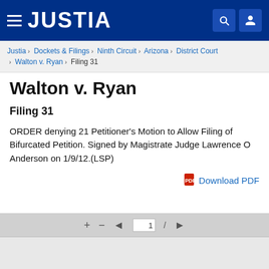JUSTIA
Justia › Dockets & Filings › Ninth Circuit › Arizona › District Court › Walton v. Ryan › Filing 31
Walton v. Ryan
Filing 31
ORDER denying 21 Petitioner's Motion to Allow Filing of Bifurcated Petition. Signed by Magistrate Judge Lawrence O Anderson on 1/9/12.(LSP)
Download PDF
[Figure (screenshot): PDF viewer toolbar showing navigation controls: plus, minus, left arrow, page number input showing 1, slash, and right arrow buttons on a grey background]